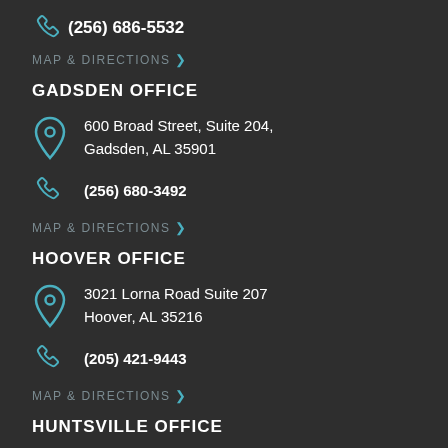(256) 686-5532
MAP & DIRECTIONS
GADSDEN OFFICE
600 Broad Street, Suite 204, Gadsden, AL 35901
(256) 680-3492
MAP & DIRECTIONS
HOOVER OFFICE
3021 Lorna Road Suite 207 Hoover, AL 35216
(205) 421-9443
MAP & DIRECTIONS
HUNTSVILLE OFFICE